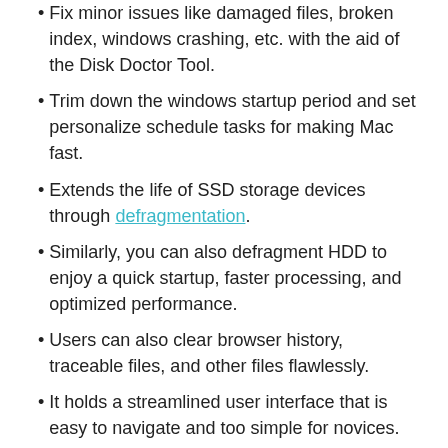Fix minor issues like damaged files, broken index, windows crashing, etc. with the aid of the Disk Doctor Tool.
Trim down the windows startup period and set personalize schedule tasks for making Mac fast.
Extends the life of SSD storage devices through defragmentation.
Similarly, you can also defragment HDD to enjoy a quick startup, faster processing, and optimized performance.
Users can also clear browser history, traceable files, and other files flawlessly.
It holds a streamlined user interface that is easy to navigate and too simple for novices.